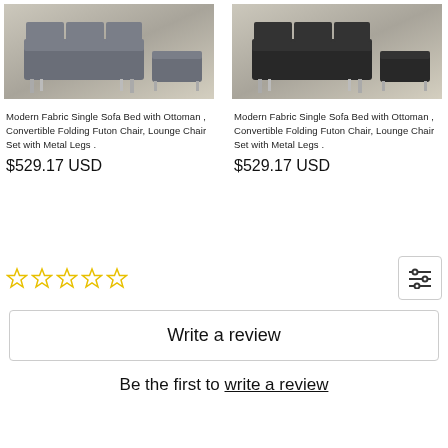[Figure (photo): Gray modern fabric single sofa bed with ottoman set with metal legs, shown on a rug]
Modern Fabric Single Sofa Bed with Ottoman , Convertible Folding Futon Chair, Lounge Chair Set with Metal Legs .
$529.17 USD
[Figure (photo): Black modern fabric single sofa bed with ottoman set with metal legs, shown on a rug]
Modern Fabric Single Sofa Bed with Ottoman , Convertible Folding Futon Chair, Lounge Chair Set with Metal Legs .
$529.17 USD
[Figure (other): Five empty yellow star rating icons]
[Figure (other): Filter/sort icon button]
Write a review
Be the first to write a review